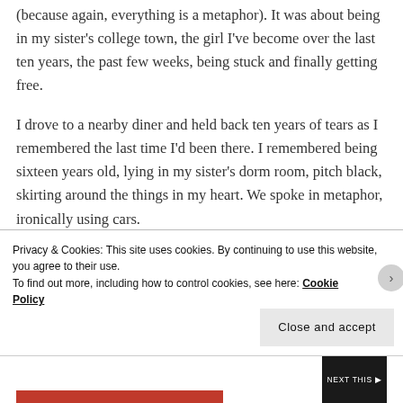(because again, everything is a metaphor). It was about being in my sister's college town, the girl I've become over the last ten years, the past few weeks, being stuck and finally getting free.
I drove to a nearby diner and held back ten years of tears as I remembered the last time I'd been there. I remembered being sixteen years old, lying in my sister's dorm room, pitch black, skirting around the things in my heart. We spoke in metaphor, ironically using cars.
Privacy & Cookies: This site uses cookies. By continuing to use this website, you agree to their use.
To find out more, including how to control cookies, see here: Cookie Policy
Close and accept